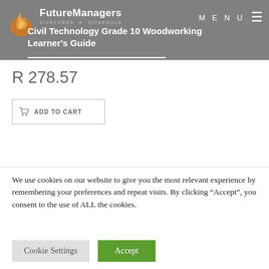FutureManagers - Civil Technology Grade 10 Woodworking Learner's Guide
R 278.57
ADD TO CART
We use cookies on our website to give you the most relevant experience by remembering your preferences and repeat visits. By clicking “Accept”, you consent to the use of ALL the cookies.
Cookie Settings
Accept